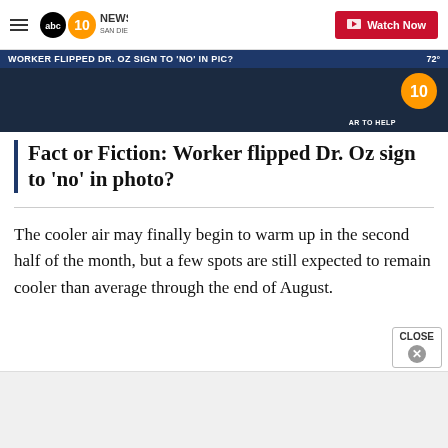10 News San Diego | Watch Now
[Figure (screenshot): News broadcast thumbnail showing ticker text: WORKER FLIPPED DR. OZ SIGN TO 'NO' IN PIC? with channel 10 logo]
Fact or Fiction: Worker flipped Dr. Oz sign to 'no' in photo?
The cooler air may finally begin to warm up in the second half of the month, but a few spots are still expected to remain cooler than average through the end of August.